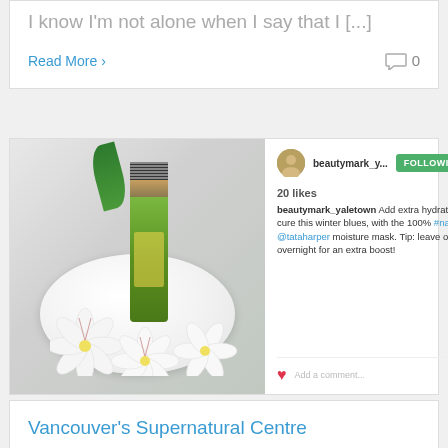I know I'm not alone when I say that I [...]
Read More
0
[Figure (photo): Instagram post showing a green Tata Harper skincare bottle on a white plate with white flowers, alongside the Instagram interface with username beautymark_yaletown, FOLLOWING button, 20 likes, and caption about hydration moisture mask.]
Vancouver's Supernatural Centre